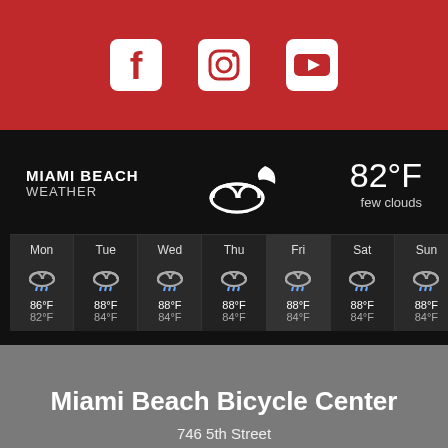[Figure (infographic): Red bar with Facebook, Instagram, and YouTube social media icons in white]
[Figure (infographic): Miami Beach weather widget on black background showing partly cloudy night icon, 82°F few clouds, and 7-day forecast: Mon 86/82°F, Tue 88/84°F, Wed 88/84°F, Thu 88/84°F, Fri 88/84°F, Sat 88/84°F, Sun 88/84°F — all with rain cloud icons]
Miami Beach Bicycle Center
746 5th Street
Miami Beach, FL 33139